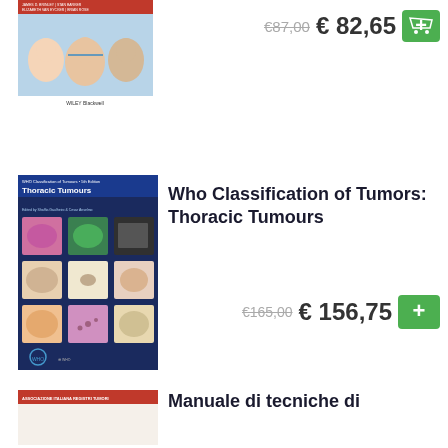[Figure (photo): Book cover for a medical/anatomy title with illustrated faces and Wiley Blackwell branding]
€87,00  € 82,65
[Figure (photo): Book cover: WHO Classification of Tumors: Thoracic Tumours – dark blue cover with microscopy images in a grid]
Who Classification of Tumors: Thoracic Tumours
€165,00  € 156,75
[Figure (photo): Book cover: Manuale di tecniche... with red header bar reading ASSOCIAZIONE ITALIANA REGISTRI TUMORI]
Manuale di tecniche di registrazione dei tumori